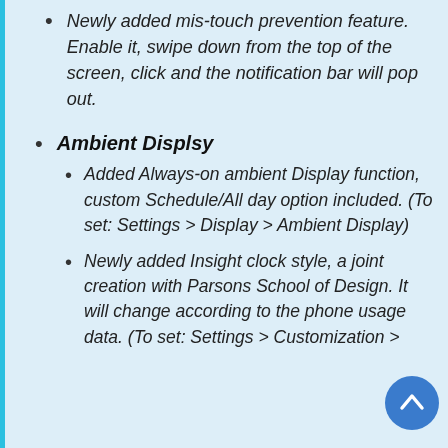Newly added mis-touch prevention feature. Enable it, swipe down from the top of the screen, click and the notification bar will pop out.
Ambient Displsy
Added Always-on ambient Display function, custom Schedule/All day option included. (To set: Settings > Display > Ambient Display)
Newly added Insight clock style, a joint creation with Parsons School of Design. It will change according to the phone usage data. (To set: Settings > Customization >